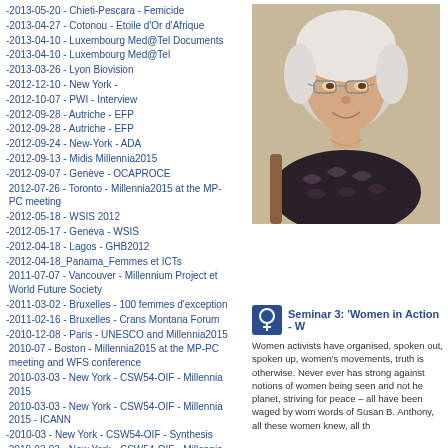-2013-05-20 - Chieti-Pescara - Femicide
-2013-04-27 - Cotonou - Etoile d'Or d'Afrique
-2013-04-10 - Luxembourg Med@Tel Documents
-2013-04-10 - Luxembourg Med@Tel
-2013-03-26 - Lyon Biovision
-2012-12-10 - New York -
-2012-10-07 - PWI - Interview
-2012-09-28 - Autriche - EFP
-2012-09-28 - Autriche - EFP
-2012-09-24 - New-York - ADA
-2012-09-13 - Midis Millennia2015
-2012-09-07 - Genève - OCAPROCE
2012-07-26 - Toronto - Millennia2015 at the MP-PC meeting
-2012-05-18 - WSIS 2012
-2012-05-17 - Geneva - WSIS
-2012-04-18 - Lagos - GHB2012
-2012-04-18_Panama_Femmes et ICTs
2011-07-07 - Vancouver - Millennium Project et World Future Society
-2011-03-02 - Bruxelles - 100 femmes d'exception
-2011-02-16 - Bruxelles - Crans Montana Forum
-2010-12-08 - Paris - UNESCO and Millennia2015
2010-07 - Boston - Millennia2015 at the MP-PC meeting and WFS conference
2010-03-03 - New York - CSW54-OIF - Millennia 2015
2010-03-03 - New York - CSW54-OIF - Millennia 2015 - ICANN
-2010-03 - New York - CSW54-OIF - Synthesis
2010-03-03 - New York - CSW54-OIF - Millennia 2015 - Photos
[Figure (photo): Portrait photo of an older woman with short white hair and glasses, smiling, wearing a patterned dark blouse]
Seminar 3: 'Women in Action - W
Women activists have organised, spoken out, spoken up, women's movements, truth is otherwise. Never ever has strong against notions of women being seen and not he planet, striving for peace – all have been waged by wom words of Susan B. Anthony, all these women knew, all th